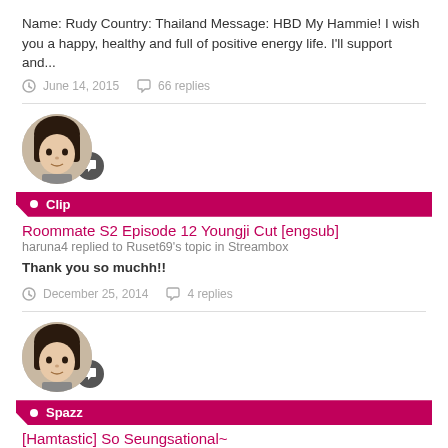Name: Rudy Country: Thailand Message: HBD My Hammie! I wish you a happy, healthy and full of positive energy life. I'll support and...
June 14, 2015   66 replies
[Figure (photo): Avatar of user haruna4 with comment badge icon]
Clip
Roommate S2 Episode 12 Youngji Cut [engsub]
haruna4 replied to Ruset69's topic in Streambox
Thank you so muchh!!
December 25, 2014   4 replies
[Figure (photo): Avatar of user haruna4 with comment badge icon]
Spazz
[Hamtastic] So Seungsational~
haruna4 replied to chupachups's topic in Han Seungyeon ~ 한승연
^ Yes. I wonder why they didn't promote Kim Dahyun that much.